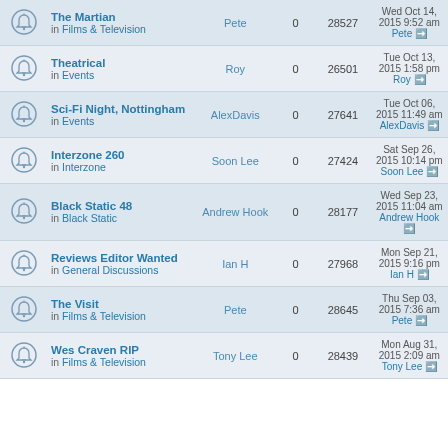|  | Topic | Author | Replies | Views | Last Post |
| --- | --- | --- | --- | --- | --- |
| 🔔 | The Martian in Films & Television | Pete | 0 | 28527 | Wed Oct 14, 2015 9:52 am Pete |
| 🔔 | Theatrical in Events | Roy | 0 | 26501 | Tue Oct 13, 2015 1:58 pm Roy |
| 🔔 | Sci-Fi Night, Nottingham in Events | AlexDavis | 0 | 27641 | Tue Oct 06, 2015 11:49 am AlexDavis |
| 🔔 | Interzone 260 in Interzone | Soon Lee | 0 | 27424 | Sat Sep 26, 2015 10:14 pm Soon Lee |
| 🔔 | Black Static 48 in Black Static | Andrew Hook | 0 | 28177 | Wed Sep 23, 2015 11:04 am Andrew Hook |
| 🔔 | Reviews Editor Wanted in General Discussions | Ian H | 0 | 27968 | Mon Sep 21, 2015 9:16 pm Ian H |
| 🔔 | The Visit in Films & Television | Pete | 0 | 28645 | Thu Sep 03, 2015 7:36 am Pete |
| 🔔 | Wes Craven RIP in Films & Television | Tony Lee | 0 | 28439 | Mon Aug 31, 2015 2:09 am Tony Lee |